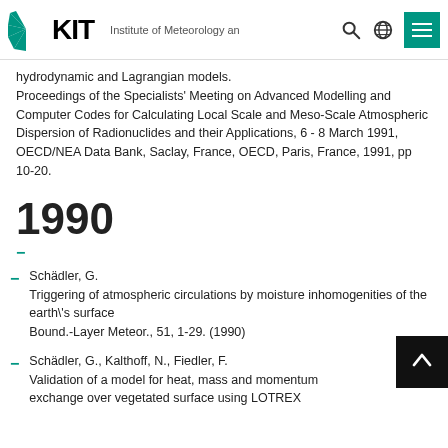KIT – Institute of Meteorology and Cli...
hydrodynamic and Lagrangian models. Proceedings of the Specialists' Meeting on Advanced Modelling and Computer Codes for Calculating Local Scale and Meso-Scale Atmospheric Dispersion of Radionuclides and their Applications, 6 - 8 March 1991, OECD/NEA Data Bank, Saclay, France, OECD, Paris, France, 1991, pp 10-20.
1990
Schädler, G.
Triggering of atmospheric circulations by moisture inhomogenities of the earth\'s surface
Bound.-Layer Meteor., 51, 1-29. (1990)
Schädler, G., Kalthoff, N., Fiedler, F.
Validation of a model for heat, mass and momentum exchange over vegetated surface using LOTREX